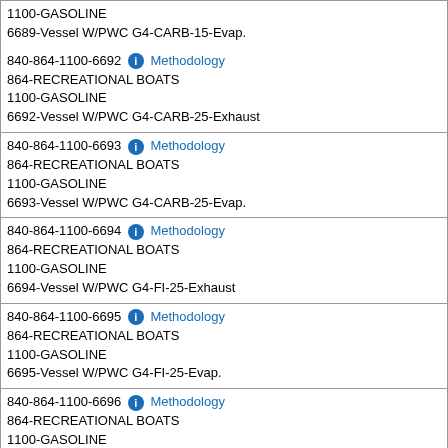1100-GASOLINE
6689-Vessel W/PWC G4-CARB-15-Evap.
840-864-1100-6692 Methodology
864-RECREATIONAL BOATS
1100-GASOLINE
6692-Vessel W/PWC G4-CARB-25-Exhaust
840-864-1100-6693 Methodology
864-RECREATIONAL BOATS
1100-GASOLINE
6693-Vessel W/PWC G4-CARB-25-Evap.
840-864-1100-6694 Methodology
864-RECREATIONAL BOATS
1100-GASOLINE
6694-Vessel W/PWC G4-FI-25-Exhaust
840-864-1100-6695 Methodology
864-RECREATIONAL BOATS
1100-GASOLINE
6695-Vessel W/PWC G4-FI-25-Evap.
840-864-1100-6696 Methodology
864-RECREATIONAL BOATS
1100-GASOLINE
6696-Vessel W/PWC G4-CARB-50-Exhaust
840-864-1100-6697 Methodology
864-RECREATIONAL BOATS
1100-GASOLINE
6697-Vessel W/PWC G4-CARB-50-Evap.